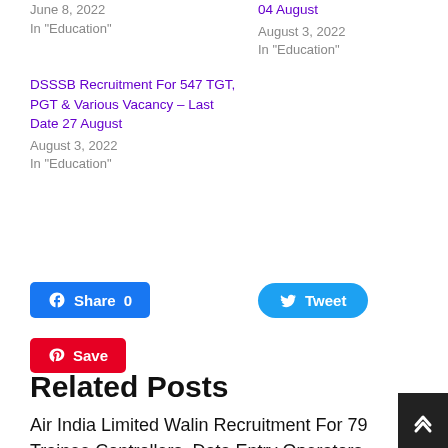June 8, 2022
In "Education"
04 August
August 3, 2022
In "Education"
DSSSB Recruitment For 547 TGT, PGT & Various Vacancy – Last Date 27 August
August 3, 2022
In "Education"
[Figure (other): Share buttons: Facebook Share 0, Tweet, Pinterest Save]
Related Posts
Air India Limited Walin Recruitment For 79 Trainee Controllers, Data Entry Operators Vacancy